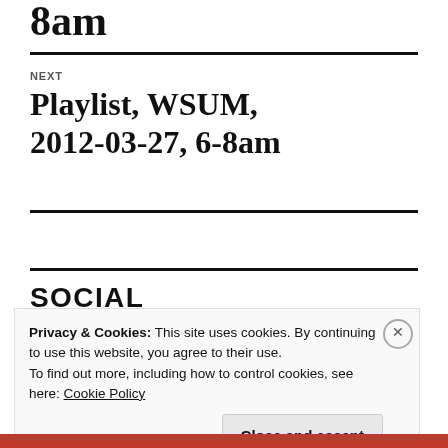8am
NEXT
Playlist, WSUM, 2012-03-27, 6-8am
SOCIAL
Privacy & Cookies: This site uses cookies. By continuing to use this website, you agree to their use.
To find out more, including how to control cookies, see here: Cookie Policy
Close and accept